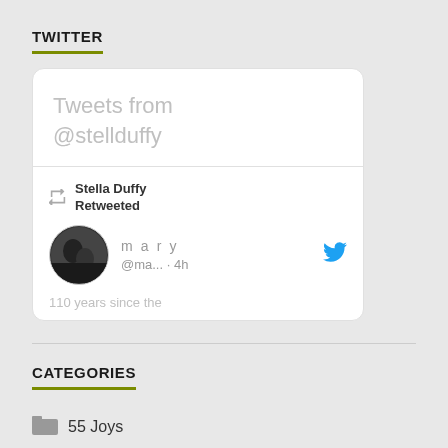TWITTER
[Figure (screenshot): Twitter widget card showing 'Tweets from @stellduffy' header, and a retweet by Stella Duffy of user 'mary @ma... · 4h' with text '110 years since the']
CATEGORIES
55 Joys
mostly about Fun Palaces